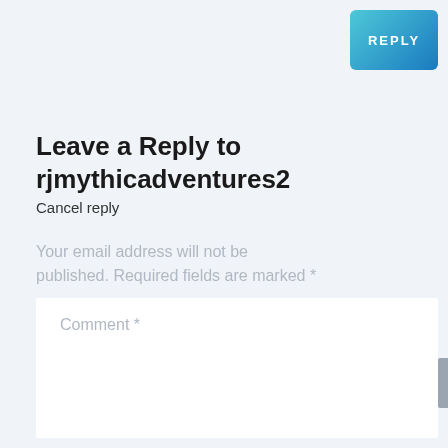[Figure (other): REPLY button with teal-to-blue gradient background and white bold letter-spaced text]
Leave a Reply to rjmythicadventures2
Cancel reply
Your email address will not be published. Required fields are marked *
Comment *